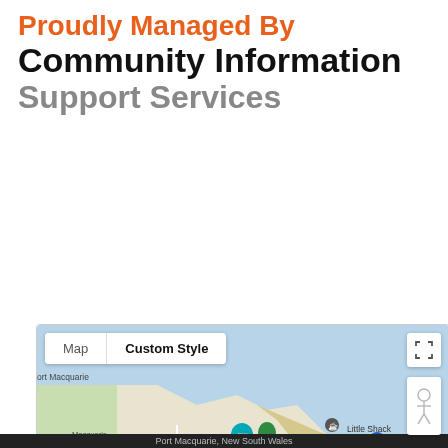Proudly Managed By
Community Information Support Services
[Figure (map): Google Maps screenshot showing Port Macquarie, New South Wales, Australia. Map tab and Custom Style tab visible at top. Shows Town Beach area, Little Shack label, Macquarie coastal walk, Flagstaff Lookout. Street names include William St, Gordon St, Lake Rd, Lord St. Map controls include fullscreen button, pegman, zoom in/out. Google logo and keyboard shortcuts / Map data ©2022 credit visible. Website Help button in bottom right corner.]
Port Macquarie, New South Wales